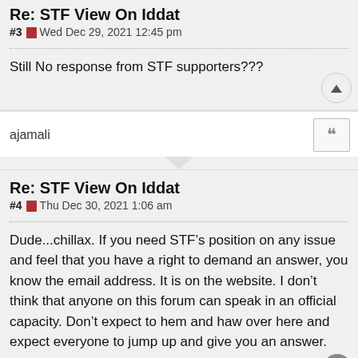Re: STF View On Iddat
#3 Wed Dec 29, 2021 12:45 pm
Still No response from STF supporters???
ajamali
Re: STF View On Iddat
#4 Thu Dec 30, 2021 1:06 am
Dude...chillax. If you need STF’s position on any issue and feel that you have a right to demand an answer, you know the email address. It is on the website. I don’t think that anyone on this forum can speak in an official capacity. Don’t expect to hem and haw over here and expect everyone to jump up and give you an answer.